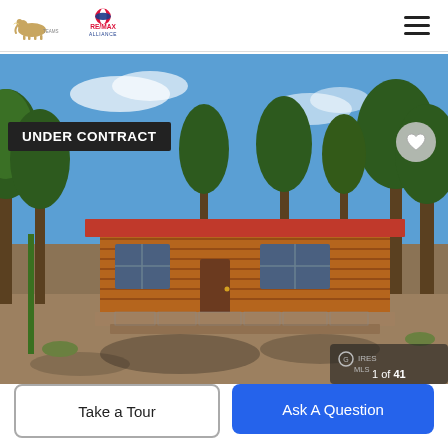[Figure (logo): Team mammoth and RE/MAX Alliance logos in page header]
[Figure (photo): Exterior photo of a log-style ranch house surrounded by pine trees and dry scrub landscape under blue sky, with 'UNDER CONTRACT' badge overlay, heart/favorite button, and 1 of 41 photo counter]
UNDER CONTRACT
1 of 41
Take a Tour
Ask A Question